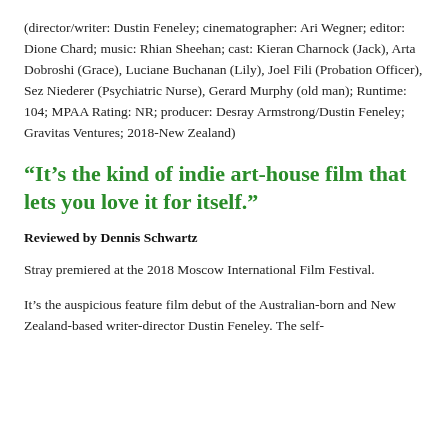(director/writer: Dustin Feneley; cinematographer: Ari Wegner; editor: Dione Chard; music: Rhian Sheehan; cast: Kieran Charnock (Jack), Arta Dobroshi (Grace), Luciane Buchanan (Lily), Joel Fili (Probation Officer), Sez Niederer (Psychiatric Nurse), Gerard Murphy (old man); Runtime: 104; MPAA Rating: NR; producer: Desray Armstrong/Dustin Feneley; Gravitas Ventures; 2018-New Zealand)
“It’s the kind of indie art-house film that lets you love it for itself.”
Reviewed by Dennis Schwartz
Stray premiered at the 2018 Moscow International Film Festival.
It’s the auspicious feature film debut of the Australian-born and New Zealand-based writer-director Dustin Feneley. The self-